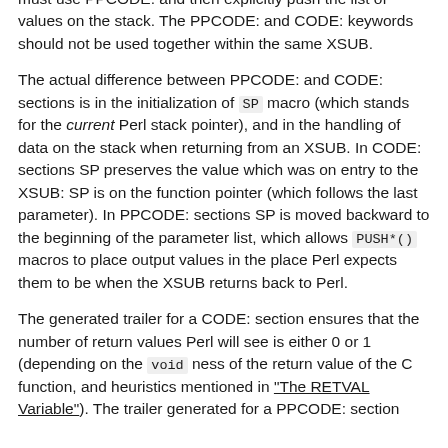must use PPCODE: and then explicitly push the list of values on the stack. The PPCODE: and CODE: keywords should not be used together within the same XSUB.
The actual difference between PPCODE: and CODE: sections is in the initialization of SP macro (which stands for the current Perl stack pointer), and in the handling of data on the stack when returning from an XSUB. In CODE: sections SP preserves the value which was on entry to the XSUB: SP is on the function pointer (which follows the last parameter). In PPCODE: sections SP is moved backward to the beginning of the parameter list, which allows PUSH*() macros to place output values in the place Perl expects them to be when the XSUB returns back to Perl.
The generated trailer for a CODE: section ensures that the number of return values Perl will see is either 0 or 1 (depending on the void ness of the return value of the C function, and heuristics mentioned in "The RETVAL Variable"). The trailer generated for a PPCODE: section